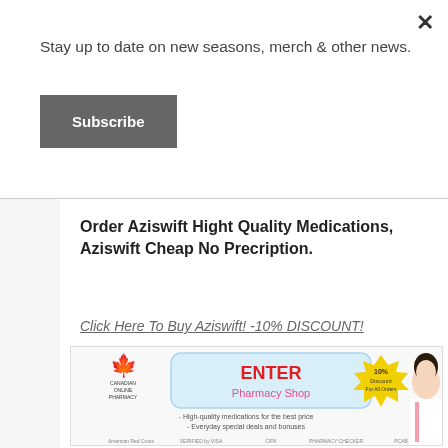Stay up to date on new seasons, merch & other news.
Subscribe
×
Order Aziswift Hight Quality Medications, Aziswift Cheap No Precription.
Click Here To Buy Aziswift! -10% DISCOUNT!
[Figure (illustration): Canadian Online Pharmacy advertisement banner featuring a female doctor/nurse in white coat with stethoscope, red maple leaf logo, 'ENTER Pharmacy Shop' text in red and pink, yellow starburst showing '10% Discount For All Orders', taglines 'High-quality medications for the best price' and 'Everyday special deals and bonuses', and trust badges including American Red Cross, Verified by Visa, CIPA, and other pharmacy certifications.]